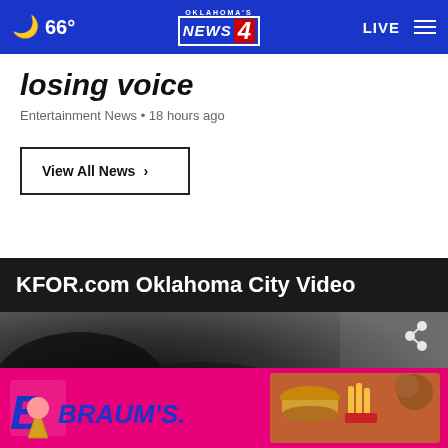66° Oklahoma's News 4 LIVE
losing voice
Entertainment News • 18 hours ago
View All News ›
KFOR.com Oklahoma City Video
[Figure (screenshot): Video thumbnail showing dark background with a share icon and close button]
[Figure (advertisement): BRAUM's advertisement banner with blue logo text, ice cream cone icon, burger and food images on pink background]